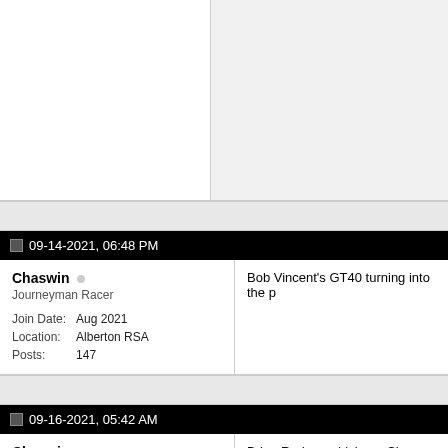[Figure (screenshot): Top portion of a forum thread showing a two-column layout with empty left user panel and light grey right content area]
09-14-2021, 06:48 PM
Chaswin
Journeyman Racer
Join Date: Aug 2021
Location: Alberton RSA
Posts: 147
Bob Vincent's GT40 turning into the p
09-16-2021, 05:42 AM
Chaswin
Journeyman Racer
Brian Redman driving a Chevron B18 auctioned by Bonhams at the Goodwo had first appeared in the summer of 1